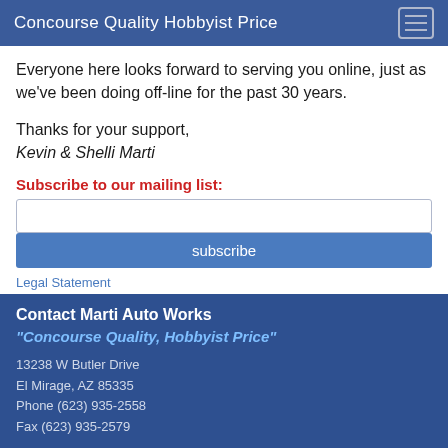Concourse Quality Hobbyist Price
Everyone here looks forward to serving you online, just as we've been doing off-line for the past 30 years.
Thanks for your support, Kevin & Shelli Marti
Subscribe to our mailing list:
[Figure (other): Email subscription input field and subscribe button]
Legal Statement
Contact Marti Auto Works
"Concourse Quality, Hobbyist Price"
13238 W Butler Drive
El Mirage, AZ 85335
Phone (623) 935-2558
Fax (623) 935-2579